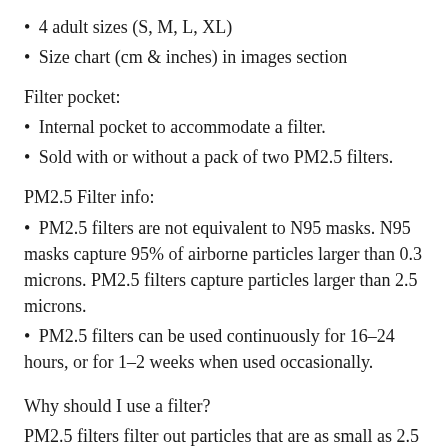4 adult sizes (S, M, L, XL)
Size chart (cm & inches) in images section
Filter pocket:
Internal pocket to accommodate a filter.
Sold with or without a pack of two PM2.5 filters.
PM2.5 Filter info:
PM2.5 filters are not equivalent to N95 masks. N95 masks capture 95% of airborne particles larger than 0.3 microns. PM2.5 filters capture particles larger than 2.5 microns.
PM2.5 filters can be used continuously for 16-24 hours, or for 1-2 weeks when used occasionally.
Why should I use a filter?
PM2.5 filters filter out particles that are as small as 2.5 microns. Virus particles are even smaller than 2.5